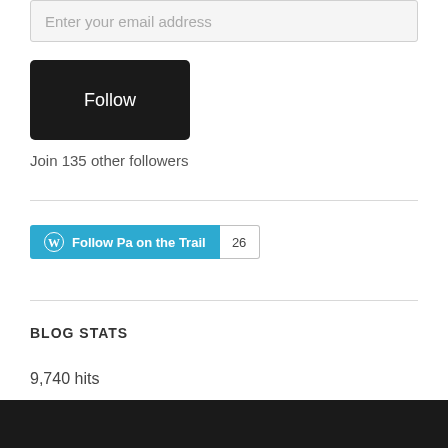Enter your email address
[Figure (other): Black Follow button]
Join 135 other followers
[Figure (other): WordPress Follow Pa on the Trail button with count 26]
BLOG STATS
9,740 hits